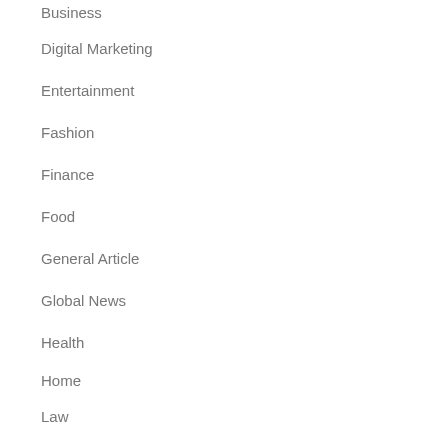Business
Digital Marketing
Entertainment
Fashion
Finance
Food
General Article
Global News
Health
Home
Law
Pets